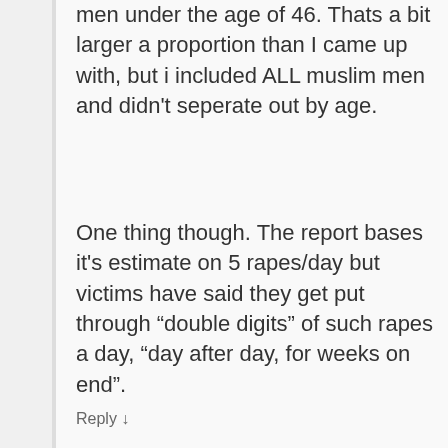men under the age of 46. Thats a bit larger a proportion than I came up with, but i included ALL muslim men and didn't seperate out by age.
One thing though. The report bases it's estimate on 5 rapes/day but victims have said they get put through “double digits” of such rapes a day, “day after day, for weeks on end”.
So the members of the community who participated as paying customers could very well be twice as much as the report estimates.
Reply ↓